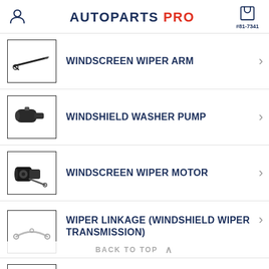AUTOPARTS PRO #81-7341
WINDSCREEN WIPER ARM
WINDSHIELD WASHER PUMP
WINDSCREEN WIPER MOTOR
WIPER LINKAGE (WINDSHIELD WIPER TRANSMISSION)
WINDSCREEN WASHER RESERVOIR